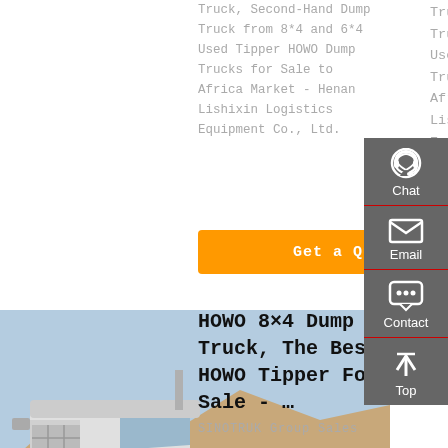Truck, Second-Hand Dump Truck from 8*4 and 6*4 Used Tipper HOWO Dump Trucks for Sale to Africa Market - Henan Lishixin Logistics Equipment Co., Ltd.
Get a Quote
[Figure (photo): Silver HOWO heavy-duty truck/tractor unit parked in a sandy/rocky outdoor area with hills in background]
HOWO 8×4 Dump Truck, The Best HOWO Tipper For Sale - …
SINOTRUK Group Sales